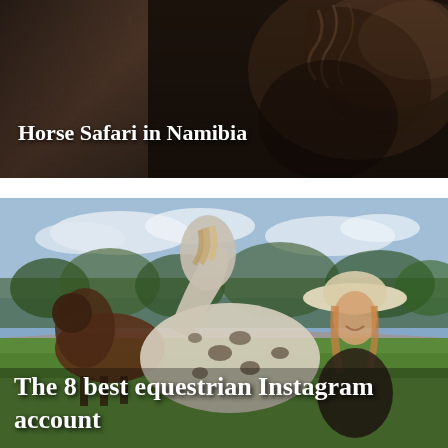[Figure (photo): Dark-toned photo of a horse, showing its head and mane from a close angle, with a brown/dark background. Title 'Horse Safari in Namibia' overlaid in white bold text at the bottom left.]
Horse Safari in Namibia
[Figure (photo): Outdoor photo of a smiling young woman wearing a wide-brimmed hat, embracing a spotted appaloosa horse in the foreground. A brown horse is visible in the background, with trees and green grass. Title 'The 8 best equestrian Instagram account' overlaid in white bold text at the bottom left.]
The 8 best equestrian Instagram account